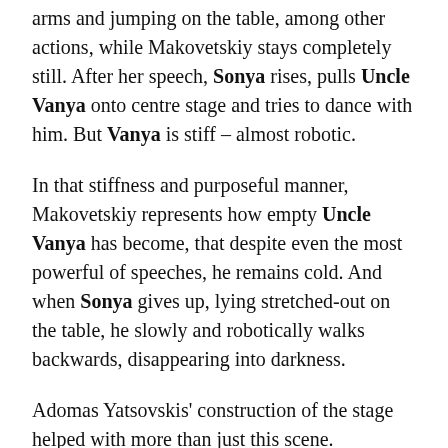arms and jumping on the table, among other actions, while Makovetskiy stays completely still. After her speech, Sonya rises, pulls Uncle Vanya onto centre stage and tries to dance with him. But Vanya is stiff – almost robotic.
In that stiffness and purposeful manner, Makovetskiy represents how empty Uncle Vanya has become, that despite even the most powerful of speeches, he remains cold. And when Sonya gives up, lying stretched-out on the table, he slowly and robotically walks backwards, disappearing into darkness.
Adomas Yatsovskis' construction of the stage helped with more than just this scene. Relatively simple in its substance, with a couch at stage left and a wooden table